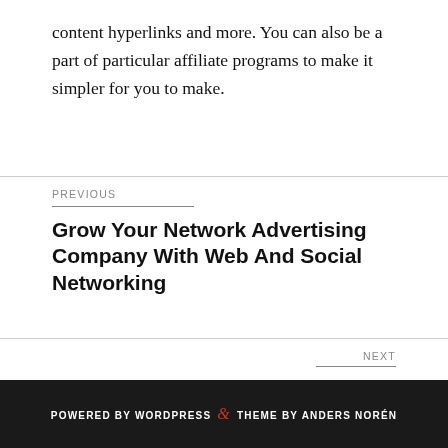content hyperlinks and more. You can also be a part of particular affiliate programs to make it simpler for you to make.
PREVIOUS
Grow Your Network Advertising Company With Web And Social Networking
NEXT
Make Cash With Article Marketing – What Is The Quickest Way?
POWERED BY WORDPRESS & THEME BY ANDERS NORÉN